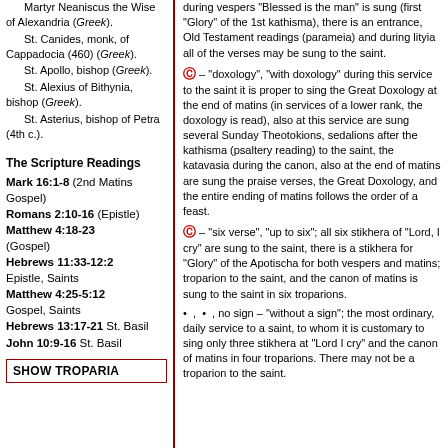Martyr Neaniscus the Wise of Alexandria (Greek).
St. Canides, monk, of Cappadocia (460) (Greek).
St. Apollo, bishop (Greek).
St. Alexius of Bithynia, bishop (Greek).
St. Asterius, bishop of Petra (4th c.).
The Scripture Readings
Mark 16:1-8 (2nd Matins Gospel)
Romans 2:10-16 (Epistle)
Matthew 4:18-23 (Gospel)
Hebrews 11:33-12:2 Epistle, Saints
Matthew 4:25-5:12 Gospel, Saints
Hebrews 13:17-21 St. Basil
John 10:9-16 St. Basil
SHOW TROPARIA
during vespers "Blessed is the man" is sung (first "Glory" of the 1st kathisma), there is an entrance, Old Testament readings (parameia) and during lityia all of the verses may be sung to the saint.
C – "doxology", "with doxology" during this service to the saint it is proper to sing the Great Doxology at the end of matins (in services of a lower rank, the doxology is read), also at this service are sung several Sunday Theotokions, sedalions after the kathisma (psaltery reading) to the saint, the katavasia during the canon, also at the end of matins are sung the praise verses, the Great Doxology, and the entire ending of matins follows the order of a feast.
C – "six verse", "up to six"; all six stikhera of "Lord, I cry" are sung to the saint, there is a stikhera for "Glory" of the Apotischa for both vespers and matins; troparion to the saint, and the canon of matins is sung to the saint in six troparions.
•  ,  •  , no sign – "without a sign"; the most ordinary, daily service to a saint, to whom it is customary to sing only three stikhera at "Lord I cry" and the canon of matins in four troparions. There may not be a troparion to the saint.